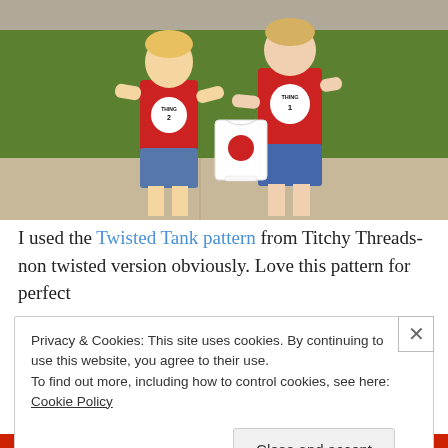[Figure (photo): Two young boys standing barefoot on a sidewalk in front of green grass, both wearing red sleeveless shirts labeled 'Thing 1' and 'Thing 2'. The taller boy on the right holds a small white onesie with a red circle on it.]
I used the Twisted Tank pattern from Titchy Threads- non twisted version obviously. Love this pattern for perfect
Privacy & Cookies: This site uses cookies. By continuing to use this website, you agree to their use.
To find out more, including how to control cookies, see here: Cookie Policy
Close and accept